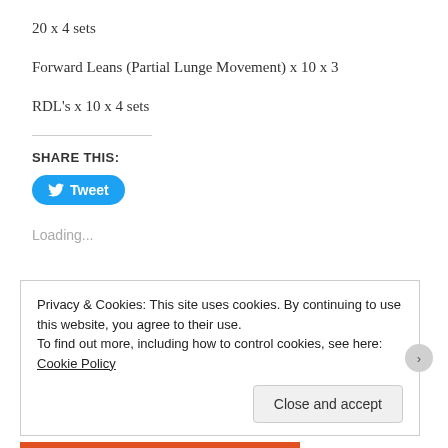20 x 4 sets
Forward Leans (Partial Lunge Movement) x 10 x 3
RDL's x 10 x 4 sets
SHARE THIS:
[Figure (other): Twitter Tweet button in blue rounded rectangle]
Loading...
Privacy & Cookies: This site uses cookies. By continuing to use this website, you agree to their use.
To find out more, including how to control cookies, see here: Cookie Policy
Close and accept